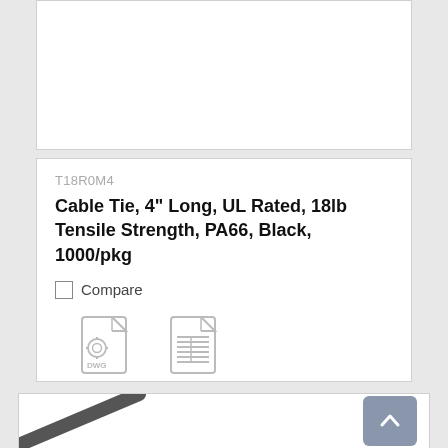[Figure (screenshot): Top portion of a product card, white background, no visible content — cropped top of page]
T18R0M4
Cable Tie, 4" Long, UL Rated, 18lb Tensile Strength, PA66, Black, 1000/pkg
Compare
[Figure (illustration): DWG document icon (drawing file icon with grid symbol and DWG label)]
Drawing(s)
[Figure (illustration): Spec Sheet document icon (lined document icon)]
Spec Sheet
[Figure (photo): Bottom card showing partial image of a black cable tie diagonal across white background, with a blue-grey back-to-top arrow button in the bottom right corner]